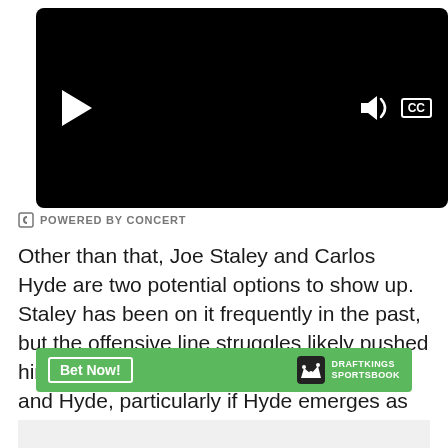[Figure (screenshot): Video player with black background, play button on left, volume and CC controls on right]
POWERED BY CONCERT
Other than that, Joe Staley and Carlos Hyde are two potential options to show up. Staley has been on it frequently in the past, but the offensive line struggles likely pushed him off. A bounce-back could benefit him and Hyde, particularly if Hyde emerges as that primary running back.
Who else do you see potentially ending up on the list a year from now (if you are so inclined to care about it)?
[Figure (screenshot): DraftKings Sportsbook advertisement banner with Bet Now button and DraftKings logo]